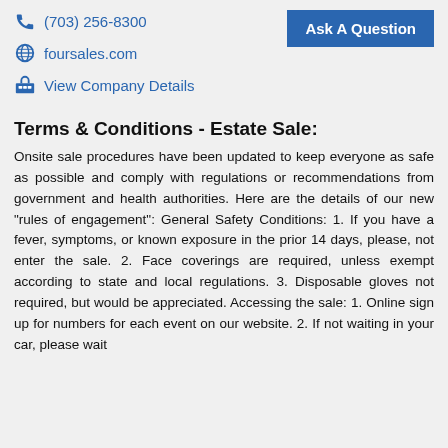(703) 256-8300
foursales.com
View Company Details
Ask A Question
Terms & Conditions - Estate Sale:
Onsite sale procedures have been updated to keep everyone as safe as possible and comply with regulations or recommendations from government and health authorities. Here are the details of our new "rules of engagement": General Safety Conditions: 1. If you have a fever, symptoms, or known exposure in the prior 14 days, please, not enter the sale. 2. Face coverings are required, unless exempt according to state and local regulations. 3. Disposable gloves not required, but would be appreciated. Accessing the sale: 1. Online sign up for numbers for each event on our website. 2. If not waiting in your car, please wait